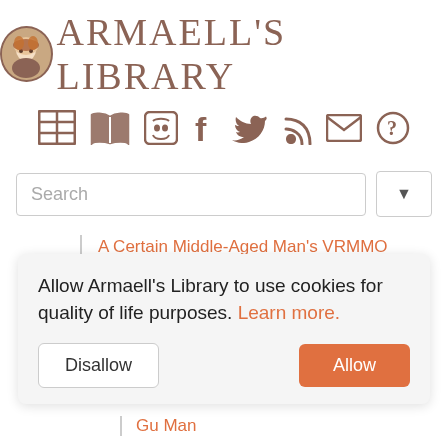ARMAELL'S LIBRARY
[Figure (logo): Circular avatar image with anime character, brown border, part of site logo]
[Figure (infographic): Navigation icon bar with icons: table/list, open book, Discord, Facebook, Twitter, RSS, envelope, question mark — all in muted brown color]
[Figure (screenshot): Search input box with placeholder text 'Search' and a dropdown arrow button]
A Certain Middle-Aged Man's VRMMO Activity Log
Shiina Howahowa
A Simple Survey
Allow Armaell's Library to use cookies for quality of life purposes. Learn more.
Disallow
Allow
Gu Man